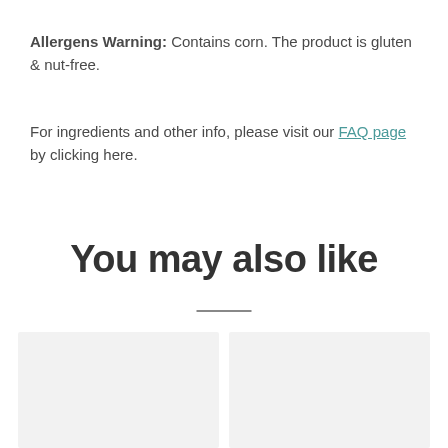Allergens Warning: Contains corn. The product is gluten & nut-free.
For ingredients and other info, please visit our FAQ page by clicking here.
You may also like
[Figure (other): Two product image placeholder cards side by side with light gray background]